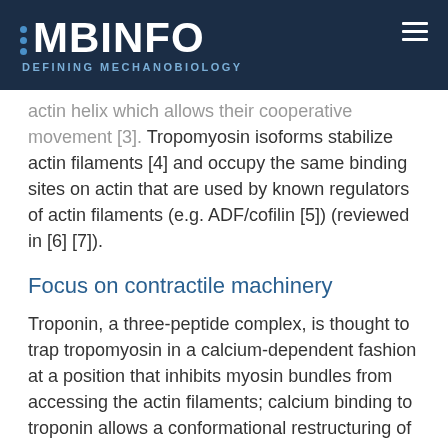MBInfo - Defining Mechanobiology
actin helix which allows their cooperative movement [3]. Tropomyosin isoforms stabilize actin filaments [4] and occupy the same binding sites on actin that are used by known regulators of actin filaments (e.g. ADF/cofilin [5]) (reviewed in [6] [7]).
Focus on contractile machinery
Troponin, a three-peptide complex, is thought to trap tropomyosin in a calcium-dependent fashion at a position that inhibits myosin bundles from accessing the actin filaments; calcium binding to troponin allows a conformational restructuring of